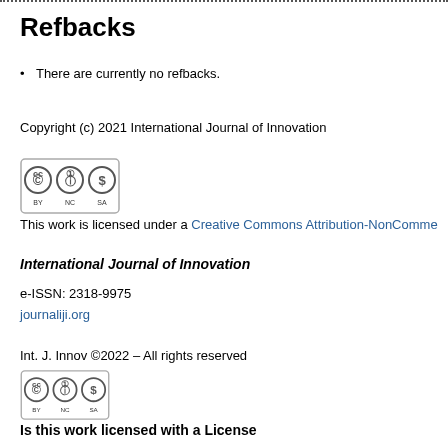Refbacks
There are currently no refbacks.
Copyright (c) 2021 International Journal of Innovation
[Figure (logo): Creative Commons BY NC SA license badge]
This work is licensed under a Creative Commons Attribution-NonComme...
International Journal of Innovation
e-ISSN: 2318-9975
journaliji.org
Int. J. Innov ©2022 – All rights reserved
[Figure (logo): Creative Commons BY NC SA license badge]
Is this work licensed with a License